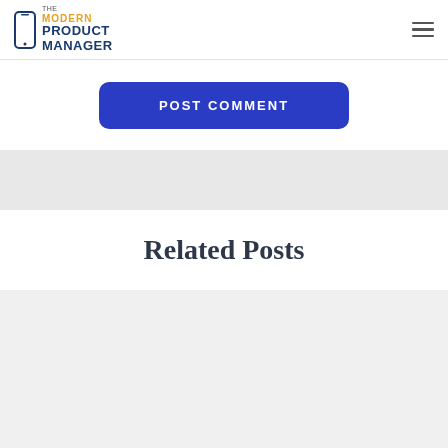The Modern Product Manager
POST COMMENT
Related Posts
[Figure (photo): Portrait painting of a historical figure (resembling Nostradamus) wearing a black hat, with a red object on the left side, dark background with circular patterns]